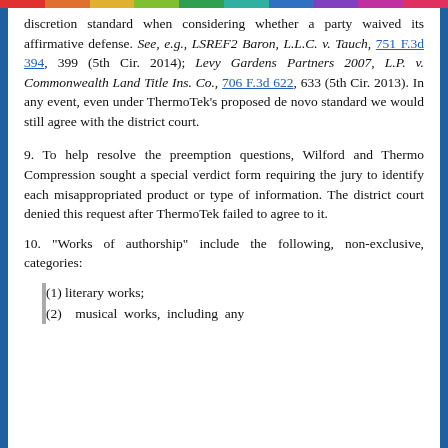discretion standard when considering whether a party waived its affirmative defense. See, e.g., LSREF2 Baron, L.L.C. v. Tauch, 751 F.3d 394, 399 (5th Cir. 2014); Levy Gardens Partners 2007, L.P. v. Commonwealth Land Title Ins. Co., 706 F.3d 622, 633 (5th Cir. 2013). In any event, even under ThermoTek's proposed de novo standard we would still agree with the district court.
9. To help resolve the preemption questions, Wilford and Thermo Compression sought a special verdict form requiring the jury to identify each misappropriated product or type of information. The district court denied this request after ThermoTek failed to agree to it.
10. "Works of authorship" include the following, non-exclusive, categories:
(1) literary works;
(2)    musical  works,  including  any